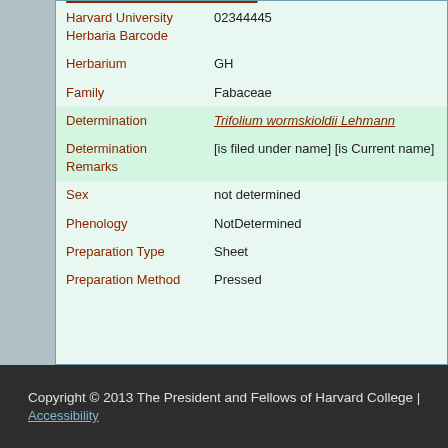| Field | Value |
| --- | --- |
| Harvard University Herbaria Barcode | 02344445 |
| Herbarium | GH |
| Family | Fabaceae |
| Determination | Trifolium wormskioldii Lehmann |
| Determination Remarks | [is filed under name] [is Current name] |
| Sex | not determined |
| Phenology | NotDetermined |
| Preparation Type | Sheet |
| Preparation Method | Pressed |
Copyright © 2013 The President and Fellows of Harvard College | Accessibility